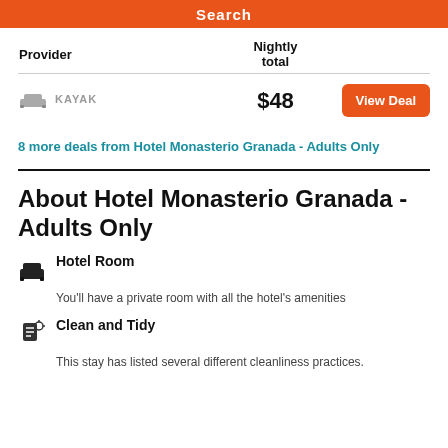Search
| Provider | Nightly total |
| --- | --- |
| KAYAK | $48 |
8 more deals from Hotel Monasterio Granada - Adults Only
About Hotel Monasterio Granada - Adults Only
Hotel Room
You'll have a private room with all the hotel's amenities
Clean and Tidy
This stay has listed several different cleanliness practices.